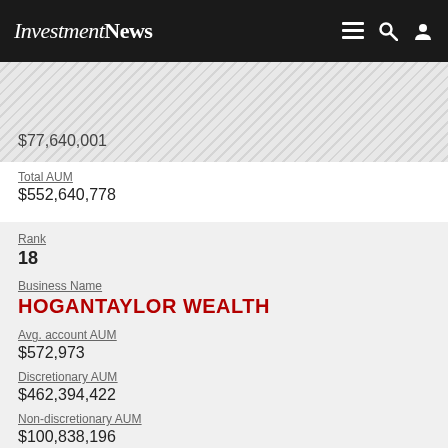InvestmentNews
$77,640,001
Total AUM
$552,640,778
Rank
18
Business Name
HOGANTAYLOR WEALTH
Avg. account AUM
$572,973
Discretionary AUM
$462,394,422
Non-discretionary AUM
$100,838,196
Total AUM
$563,232,618